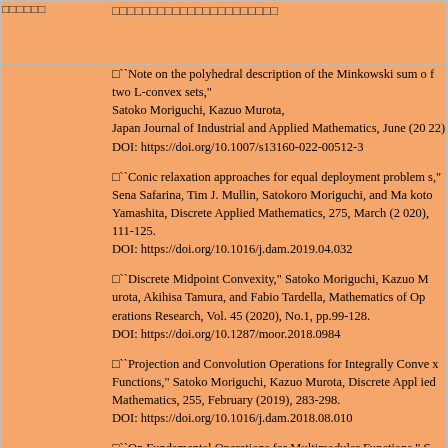| （Japanese text） | （Japanese text） |
| --- | --- |
| （Japanese text） | （Japanese text） |
|  | ・``Note on the polyhedral description of the Minkowski sum of two L-convex sets," Satoko Moriguchi, Kazuo Murota, Japan Journal of Industrial and Applied Mathematics, June (2022) DOI: https://doi.org/10.1007/s13160-022-00512-3

・``Conic relaxation approaches for equal deployment problems," Sena Safarina, Tim J. Mullin, Satokoro Moriguchi, and Makoto Yamashita, Discrete Applied Mathematics, 275, March (2020), 111-125. DOI: https://doi.org/10.1016/j.dam.2019.04.032

・``Discrete Midpoint Convexity," Satoko Moriguchi, Kazuo Murota, Akihisa Tamura, and Fabio Tardella, Mathematics of Operations Research, Vol. 45 (2020), No.1, pp.99-128. DOI: https://doi.org/10.1287/moor.2018.0984

・``Projection and Convolution Operations for Integrally Convex Functions," Satoko Moriguchi, Kazuo Murota, Discrete Applied Mathematics, 255, February (2019), 283-298. DOI: https://doi.org/10.1016/j.dam.2018.08.010

・``On Fundamental Operations for Multimodular Functions," Satoko Moriguchi, Kazuo Murota, Journal of the Operations Re... |